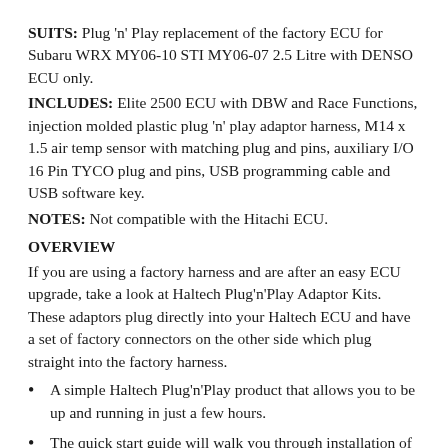SUITS: Plug 'n' Play replacement of the factory ECU for Subaru WRX MY06-10 STI MY06-07 2.5 Litre with DENSO ECU only.
INCLUDES: Elite 2500 ECU with DBW and Race Functions, injection molded plastic plug 'n' play adaptor harness, M14 x 1.5 air temp sensor with matching plug and pins, auxiliary I/O 16 Pin TYCO plug and pins, USB programming cable and USB software key.
NOTES: Not compatible with the Hitachi ECU.
OVERVIEW
If you are using a factory harness and are after an easy ECU upgrade, take a look at Haltech Plug'n'Play Adaptor Kits. These adaptors plug directly into your Haltech ECU and have a set of factory connectors on the other side which plug straight into the factory harness.
A simple Haltech Plug'n'Play product that allows you to be up and running in just a few hours.
The quick start guide will walk you through installation of the Haltech Plug'n'Play adaptor into your vehicle